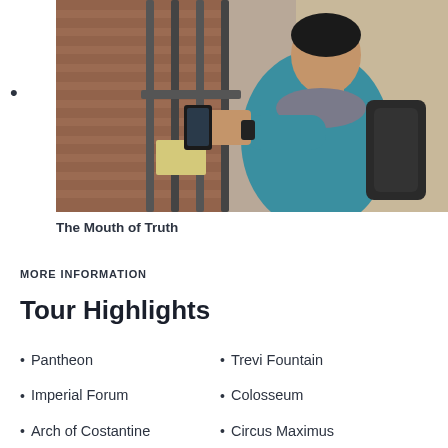[Figure (photo): A man wearing a teal jacket and backpack taking a photo with his smartphone at a historic brick building with iron bars, likely the Mouth of Truth in Rome.]
The Mouth of Truth
MORE INFORMATION
Tour Highlights
Pantheon
Imperial Forum
Arch of Costantine
Trevi Fountain
Colosseum
Circus Maximus